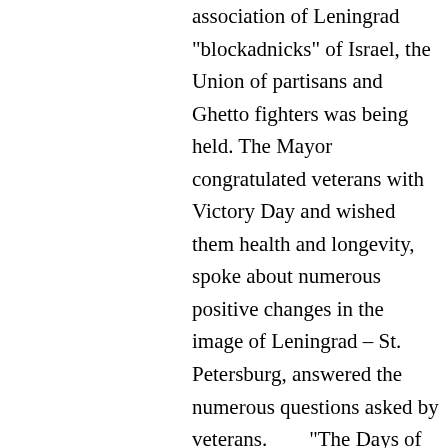association of Leningrad "blockadnicks" of Israel, the Union of partisans and Ghetto fighters was being held. The Mayor congratulated veterans with Victory Day and wished them health and longevity, spoke about numerous positive changes in the image of Leningrad – St. Petersburg, answered the numerous questions asked by veterans.        "The Days of St. Petersburg" program includes the work of picture and photo expositions, new books, edited by Petersburg publishing houses, presentations, and new movies'